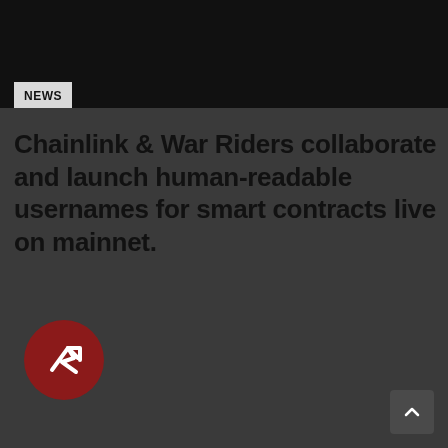[Figure (photo): Dark black banner image at the top of the page]
NEWS
Chainlink & War Riders collaborate and launch human-readable usernames for smart contracts live on mainnet.
[Figure (logo): Round dark red circle with a white arrow/lightning bolt icon (BuzzFeed News or similar news logo)]